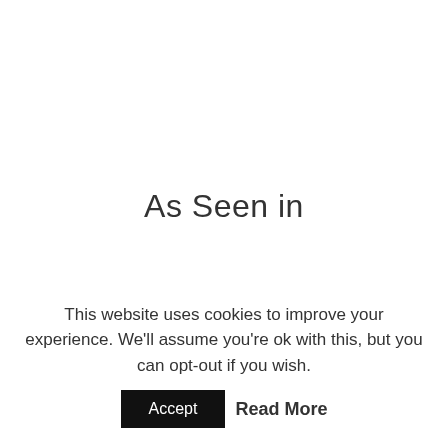As Seen in
We offer a unique opportunity to be an owner of the very best crop from the most valuable source, of one of the world’s greatest luxury food items. True “French” black winter truffles command a significant
This website uses cookies to improve your experience. We'll assume you're ok with this, but you can opt-out if you wish.
Accept   Read More